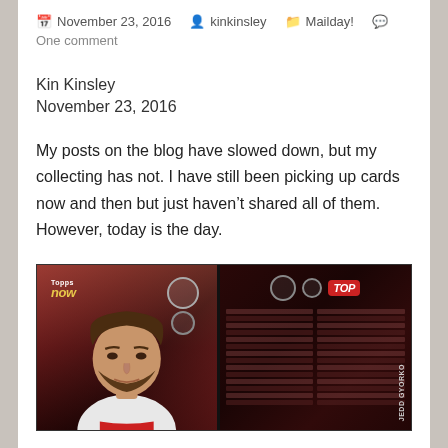November 23, 2016  kinkinsley  Mailday!  One comment
Kin Kinsley
November 23, 2016
My posts on the blog have slowed down, but my collecting has not. I have still been picking up cards now and then but just haven't shared all of them. However, today is the day.
[Figure (photo): Front and back of a Topps Now baseball card featuring Jedd Gyorko, shown in a card holder/case. The front shows the player's face and the Topps Now logo with card number 1. The back is dark red/maroon with stats and player name JEDD GYORKO.]